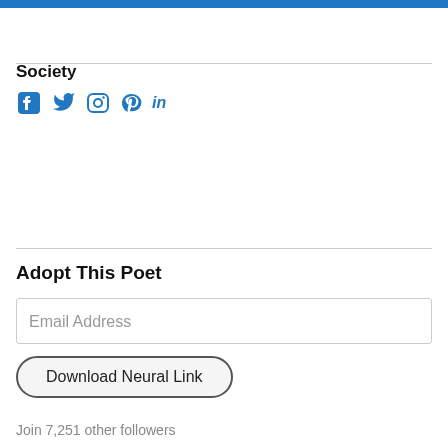Society
[Figure (infographic): Social media icons: Facebook, Twitter, Instagram, Pinterest, LinkedIn in blue]
Adopt This Poet
Email Address
Download Neural Link
Join 7,251 other followers